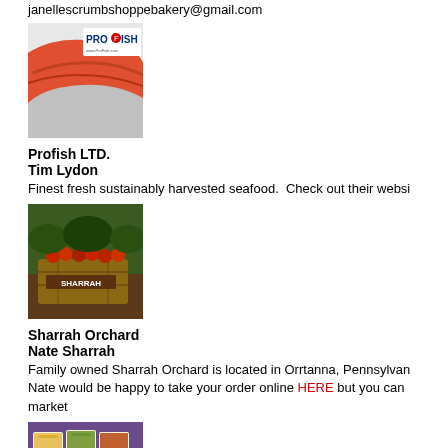janellescrumbshoppebakery@gmail.com
[Figure (photo): ProFish LTD logo with salmon fillet image]
Profish LTD.
Tim Lydon
Finest fresh sustainably harvested seafood.  Check out their websi
[Figure (photo): Sharrah Orchard wooden crate with apples and SHARRAH signage]
Sharrah Orchard
Nate Sharrah
Family owned Sharrah Orchard is located in Orrtanna, Pennsylvan... Nate would be happy to take your order online HERE but you can also visit at market
[Figure (photo): Food trays with various dishes]